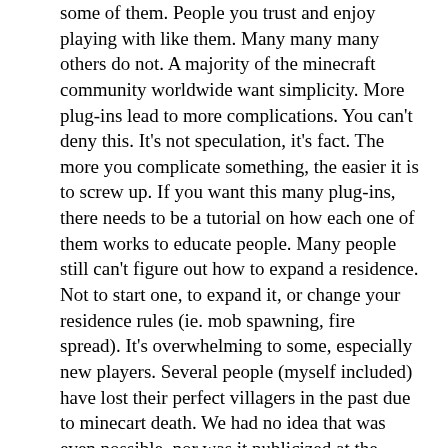some of them. People you trust and enjoy playing with like them. Many many many others do not. A majority of the minecraft community worldwide want simplicity. More plug-ins lead to more complications. You can't deny this. It's not speculation, it's fact. The more you complicate something, the easier it is to screw up. If you want this many plug-ins, there needs to be a tutorial on how each one of them works to educate people. Many people still can't figure out how to expand a residence. Not to start one, to expand it, or change your residence rules (ie. mob spawning, fire spread). It's overwhelming to some, especially new players. Several people (myself included) have lost their perfect villagers in the past due to minecart death. We had no idea that was even possible, nor was it publicized at the time.
I could go on for hours about ways we could